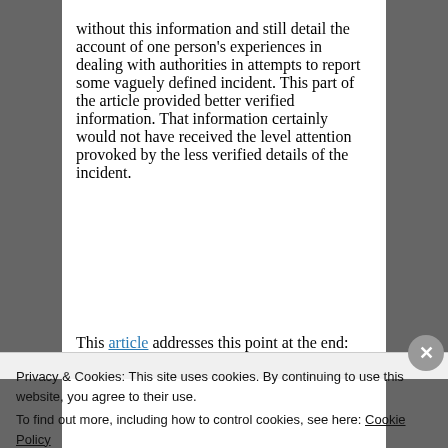without this information and still detail the account of one person's experiences in dealing with authorities in attempts to report some vaguely defined incident. This part of the article provided better verified information. That information certainly would not have received the level attention provoked by the less verified details of the incident.
This article addresses this point at the end:
Privacy & Cookies: This site uses cookies. By continuing to use this website, you agree to their use.
To find out more, including how to control cookies, see here: Cookie Policy